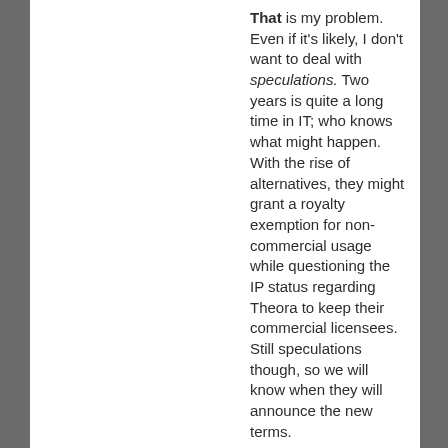That is my problem. Even if it's likely, I don't want to deal with speculations. Two years is quite a long time in IT; who knows what might happen. With the rise of alternatives, they might grant a royalty exemption for non-commercial usage while questioning the IP status regarding Theora to keep their commercial licensees. Still speculations though, so we will know when they will announce the new terms.

Of course, if you do